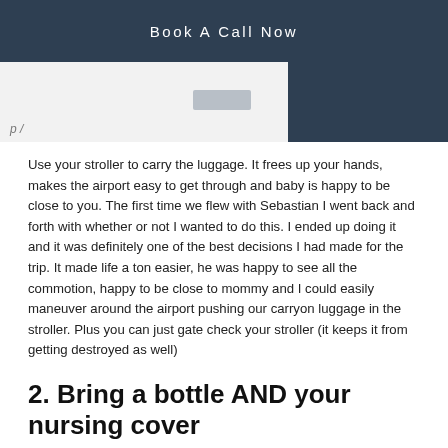Book A Call Now
[Figure (screenshot): Partial screenshot of a webpage showing navigation and a dark blue sidebar element]
Use your stroller to carry the luggage. It frees up your hands, makes the airport easy to get through and baby is happy to be close to you. The first time we flew with Sebastian I went back and forth with whether or not I wanted to do this. I ended up doing it and it was definitely one of the best decisions I had made for the trip. It made life a ton easier, he was happy to see all the commotion, happy to be close to mommy and I could easily maneuver around the airport pushing our carryon luggage in the stroller. Plus you can just gate check your stroller (it keeps it from getting destroyed as well)
2. Bring a bottle AND your nursing cover
It is recommended that baby be sucking on something during take off and landing to help with the pressure in their ears. Be ready to nurse on demand and have a bottle handy in case they